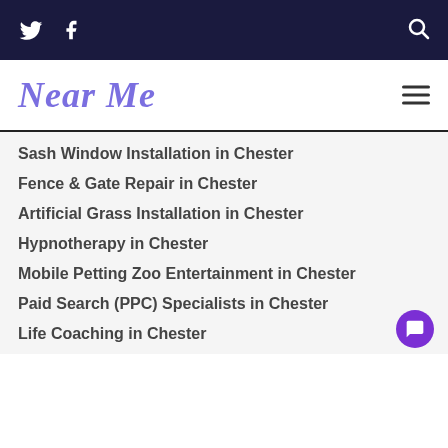Twitter Facebook [search icon]
Near Me
Sash Window Installation in Chester
Fence & Gate Repair in Chester
Artificial Grass Installation in Chester
Hypnotherapy in Chester
Mobile Petting Zoo Entertainment in Chester
Paid Search (PPC) Specialists in Chester
Life Coaching in Chester